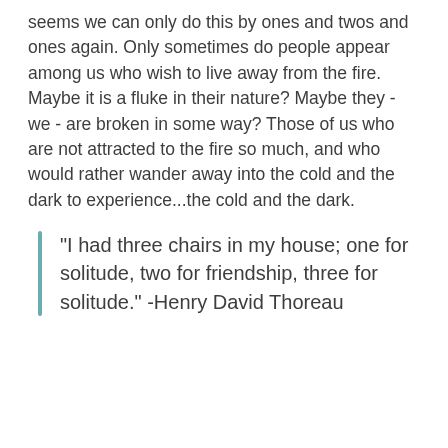seems we can only do this by ones and twos and ones again. Only sometimes do people appear among us who wish to live away from the fire. Maybe it is a fluke in their nature? Maybe they - we - are broken in some way? Those of us who are not attracted to the fire so much, and who would rather wander away into the cold and the dark to experience...the cold and the dark.
"I had three chairs in my house; one for solitude, two for friendship, three for solitude." -Henry David Thoreau